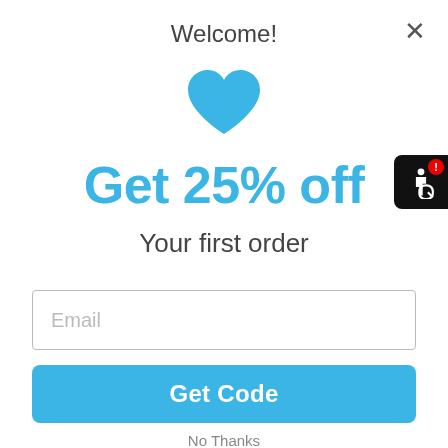Welcome!
[Figure (illustration): Blue heart icon]
Get 25% off
Your first order
Email (input field placeholder)
Get Code
[Figure (illustration): Accessibility widget with red badge and wheelchair icon on black background, positioned top right]